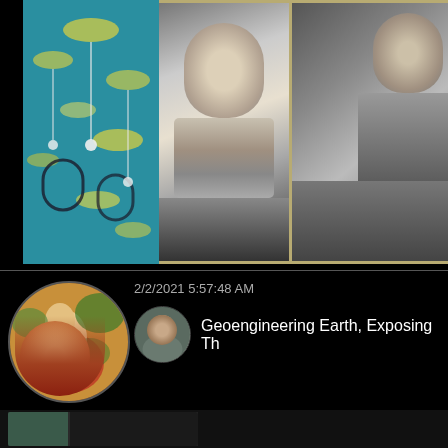[Figure (photo): Top section with three panels: a teal mid-century modern decorative pattern panel on the left, and two black-and-white portrait photos on the right with a tan/gold frame background]
[Figure (photo): User profile avatar showing a classical painting (Psyche's Muse) in a circular frame with the label 'Psyche's Muse' underneath]
2/2/2021 5:57:48 AM
[Figure (photo): Small circular avatar showing a man's face for a post/video thumbnail]
Geoengineering Earth, Exposing Th
[Figure (photo): Partial thumbnail visible at bottom of page]